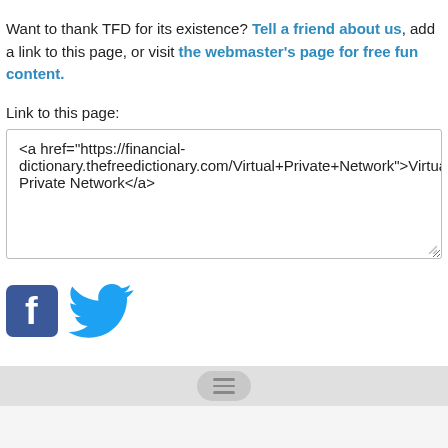Want to thank TFD for its existence? Tell a friend about us, add a link to this page, or visit the webmaster's page for free fun content.
Link to this page:
<a href="https://financial-dictionary.thefreedictionary.com/Virtual+Private+Network">Virtual Private Network</a>
[Figure (logo): Facebook and Twitter social media icons side by side]